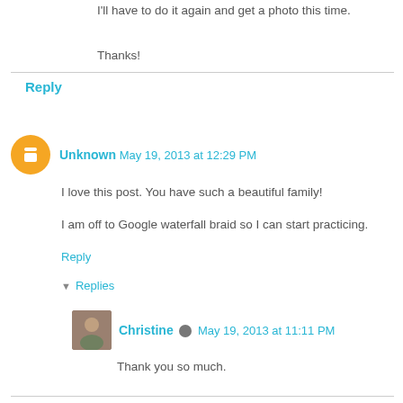I'll have to do it again and get a photo this time.
Thanks!
Reply
Unknown  May 19, 2013 at 12:29 PM
I love this post. You have such a beautiful family!
I am off to Google waterfall braid so I can start practicing.
Reply
Replies
Christine  May 19, 2013 at 11:11 PM
Thank you so much.
Once you get the idea, it isn't hard. Have fun!
Reply